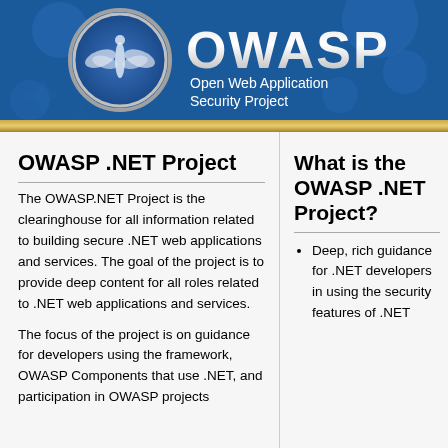[Figure (logo): OWASP logo banner with blue background, circles, butterfly/wasp emblem in silver circle on left, 'OWASP' text in large silver letters on right, subtitle 'Open Web Application Security Project' below, gold bar at bottom]
OWASP .NET Project
The OWASP.NET Project is the clearinghouse for all information related to building secure .NET web applications and services. The goal of the project is to provide deep content for all roles related to .NET web applications and services.
The focus of the project is on guidance for developers using the framework, OWASP Components that use .NET, and participation in OWASP projects
What is the OWASP .NET Project?
Deep, rich guidance for .NET developers in using the security features of .NET